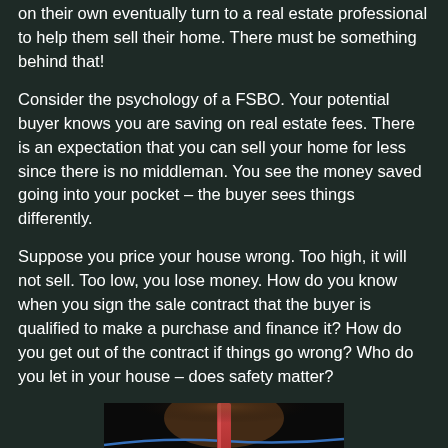on their own eventually turn to a real estate professional to help them sell their home. There must be something behind that!
Consider the psychology of a FSBO. Your potential buyer knows you are saving on real estate fees. There is an expectation that you can sell your home for less since there is no middleman. You see the money saved going into your pocket – the buyer sees things differently.
Suppose you price your house wrong. Too high, it will not sell. Too low, you lose money. How do you know when you sign the sale contract that the buyer is qualified to make a purchase and finance it? How do you get out of the contract if things go wrong? Who do you let in your house – does safety matter?
[Figure (photo): A boxing ring viewed from floor level, showing the red corner post and blue/red ropes against a dark background.]